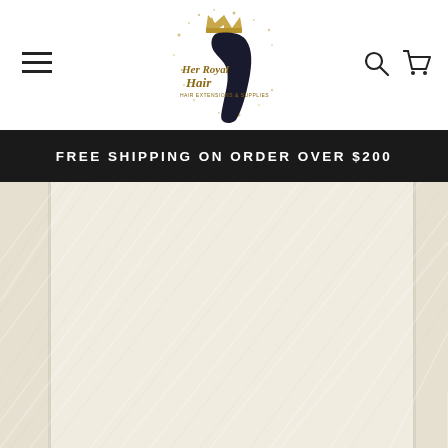[Figure (logo): Her Royal Hair logo — script text with crown and silhouette of a woman with long hair, surrounded by gold glitter]
FREE SHIPPING ON ORDER OVER $200
[Figure (photo): Close-up of very light blonde / platinum white hair extensions showing fine silky texture with diagonal highlight streaks, displayed in a wide cropped product image]